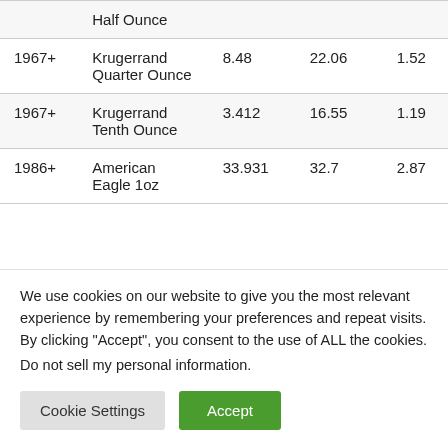|  | Half Ounce |  |  |  |
| 1967+ | Krugerrand Quarter Ounce | 8.48 | 22.06 | 1.52 |
| 1967+ | Krugerrand Tenth Ounce | 3.412 | 16.55 | 1.19 |
| 1986+ | American Eagle 1oz | 33.931 | 32.7 | 2.87 |
We use cookies on our website to give you the most relevant experience by remembering your preferences and repeat visits. By clicking “Accept”, you consent to the use of ALL the cookies.
Do not sell my personal information.